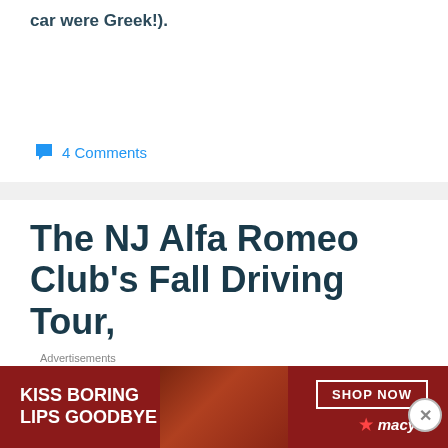car were Greek!).
4 Comments
The NJ Alfa Romeo Club's Fall Driving Tour, October 2017
[Figure (other): Macy's advertisement banner: KISS BORING LIPS GOODBYE with SHOP NOW button and Macy's logo]